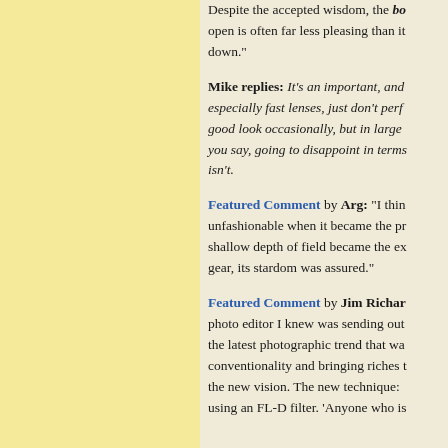Despite the accepted wisdom, the bokeh open is often far less pleasing than it down."
Mike replies: It's an important, and especially fast lenses, just don't perf good look occasionally, but in large you say, going to disappoint in terms isn't.
Featured Comment by Arg: "I thin unfashionable when it became the pr shallow depth of field became the ex gear, its stardom was assured."
Featured Comment by Jim Richar photo editor I knew was sending out the latest photographic trend that wa conventionality and bringing riches t the new vision. The new technique: using an FL-D filter. 'Anyone who is